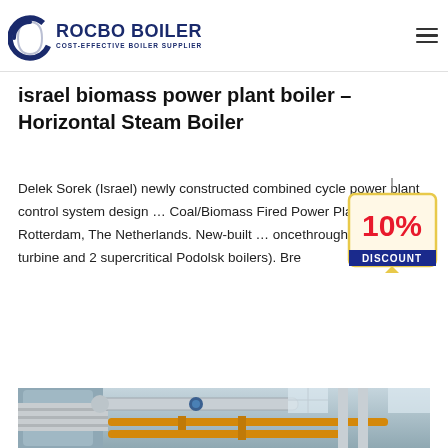[Figure (logo): Rocbo Boiler logo with circular blue icon and text 'ROCBO BOILER / COST-EFFECTIVE BOILER SUPPLIER']
israel biomass power plant boiler – Horizontal Steam Boiler
Delek Sorek (Israel) newly constructed combined cycle power plant control system design … Coal/Biomass Fired Power Plant Rotterdam, The Netherlands. New-built … oncethrough steam turbine and 2 supercritical Podolsk boilers). Bre
[Figure (illustration): 10% DISCOUNT badge/tag graphic in red and yellow]
[Figure (photo): Industrial boiler facility interior showing large pipes, yellow gas pipes, and industrial equipment in a factory setting]